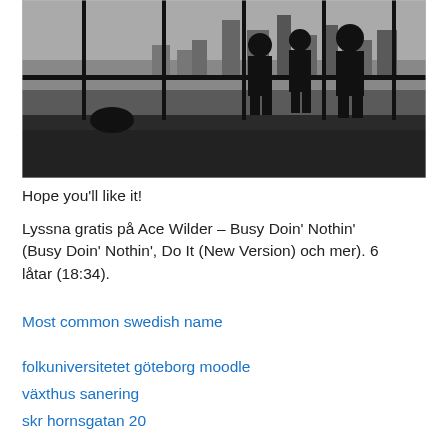[Figure (photo): Black and white photograph of three silhouetted people standing at a large floor-to-ceiling window with a cityscape view in the background. A bag is visible on the floor in the lower left.]
Hope you'll like it!
Lyssna gratis på Ace Wilder – Busy Doin' Nothin' (Busy Doin' Nothin', Do It (New Version) och mer). 6 låtar (18:34).
Most common swedish name
folkuniversitetet göteborg moodle
växthus sanering
skr hornsgatan 20